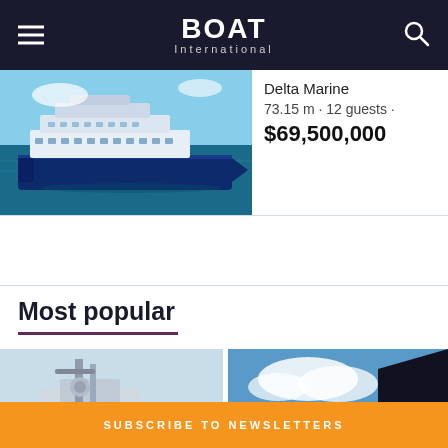BOAT International
[Figure (photo): Large blue luxury superyacht at sea, white superstructure, Delta Marine builder]
Delta Marine
73.15 m · 12 guests · $69,500,000
Most popular
[Figure (photo): Close-up of white yacht deck equipment and radar mast against sky]
[Figure (photo): Yacht or island scene with blue sky and clouds]
SUBSCRIBE TO NEWSLETTERS